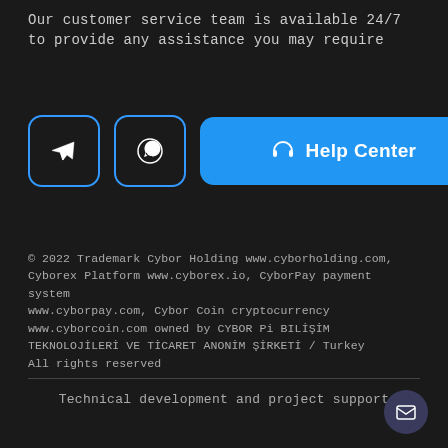Our customer service team is available 24/7 to provide any assistance you may require
[Figure (infographic): Row of three buttons: a Telegram icon button (bordered square), a WhatsApp icon button (bordered square), and a blue 'Help Center' button with headphone icon]
© 2022 Trademark Cybor Holding www.cyborholding.com, Cyborex Platform www.cyborex.io, CyborPay payment system www.cyborpay.com, Cybor Coin cryptocurrency www.cyborcoin.com owned by CYBOR Pi BILİŞİM TEKNOLOJİLERİ VE TİCARET ANONİM ŞİRKETİ / Turkey All rights reserved
Technical development and project support